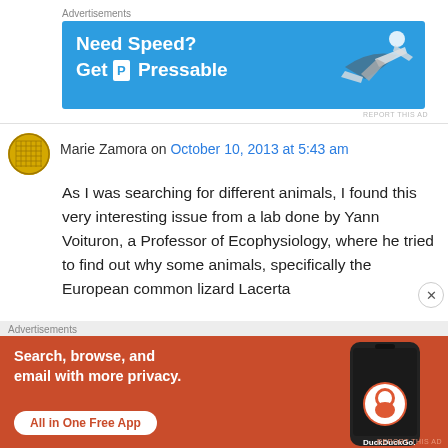Advertisements
[Figure (screenshot): Pressable advertisement banner: blue background with white bold text 'Need Speed? Get P Pressable' and a person flying horizontally]
REPORT THIS AD
Marie Zamora on October 10, 2013 at 5:43 am
As I was searching for different animals, I found this very interesting issue from a lab done by Yann Voituron, a Professor of Ecophysiology, where he tried to find out why some animals, specifically the European common lizard Lacerta
Advertisements
[Figure (screenshot): DuckDuckGo advertisement: orange-red background with white text 'Search, browse, and email with more privacy. All in One Free App' and a phone image with DuckDuckGo logo]